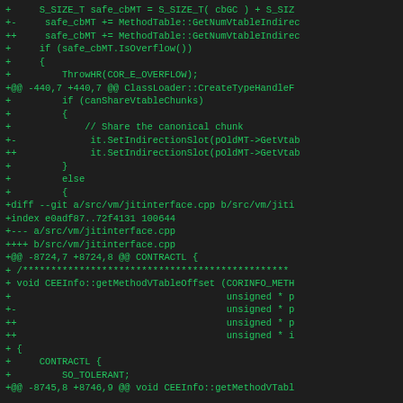[Figure (screenshot): Code diff screenshot showing git patch content in green monospace text on dark background. Contains diff hunks for ClassLoader and jitinterface.cpp files with added lines marked with +, +-,  ++ prefixes.]